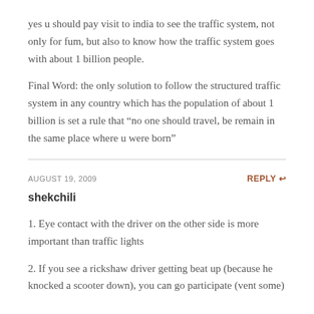yes u should pay visit to india to see the traffic system, not only for fum, but also to know how the traffic system goes with about 1 billion people.
Final Word: the only solution to follow the structured traffic system in any country which has the population of about 1 billion is set a rule that “no one should travel, be remain in the same place where u were born”
AUGUST 19, 2009 | REPLY
shekchili
1. Eye contact with the driver on the other side is more important than traffic lights
2. If you see a rickshaw driver getting beat up (because he knocked a scooter down), you can go participate (vent some)